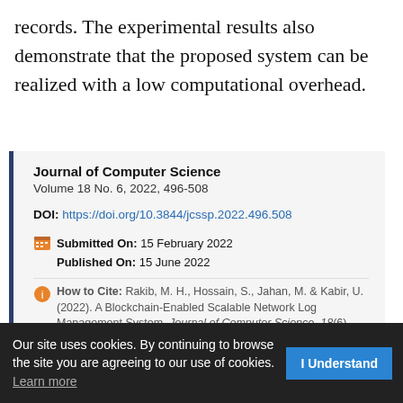records. The experimental results also demonstrate that the proposed system can be realized with a low computational overhead.
Journal of Computer Science
Volume 18 No. 6, 2022, 496-508
DOI: https://doi.org/10.3844/jcssp.2022.496.508
Submitted On: 15 February 2022
Published On: 15 June 2022
How to Cite: Rakib, M. H., Hossain, S., Jahan, M. & Kabir, U. (2022). A Blockchain-Enabled Scalable Network Log Management System. Journal of Computer Science, 18(6), 496-508. https://doi.org/10.3844/jcssp.2022.496.508
Our site uses cookies. By continuing to browse the site you are agreeing to our use of cookies. Learn more